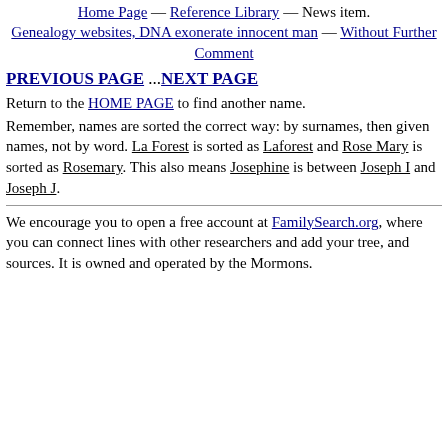Home Page — Reference Library — News item. Genealogy websites, DNA exonerate innocent man — Without Further Comment
PREVIOUS PAGE ...NEXT PAGE
Return to the HOME PAGE to find another name.
Remember, names are sorted the correct way: by surnames, then given names, not by word. La Forest is sorted as Laforest and Rose Mary is sorted as Rosemary. This also means Josephine is between Joseph I and Joseph J.
We encourage you to open a free account at FamilySearch.org, where you can connect lines with other researchers and add your tree, and sources. It is owned and operated by the Mormons.